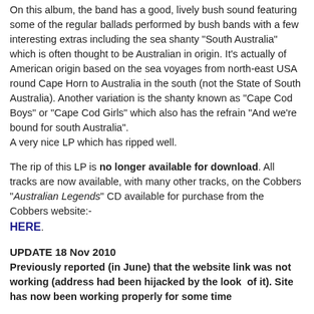On this album, the band has a good, lively bush sound featuring some of the regular ballads performed by bush bands with a few interesting extras including the sea shanty "South Australia" which is often thought to be Australian in origin. It's actually of American origin based on the sea voyages from north-east USA round Cape Horn to Australia in the south (not the State of South Australia). Another variation is the shanty known as "Cape Cod Boys" or "Cape Cod Girls" which also has the refrain "And we're bound for south Australia".
A very nice LP which has ripped well.
The rip of this LP is no longer available for download. All tracks are now available, with many other tracks, on the Cobbers "Australian Legends" CD available for purchase from the Cobbers website:-
HERE.
UPDATE 18 Nov 2010
Previously reported (in June) that the website link was not working (address had been hijacked by the look of it). Site has now been working properly for some time